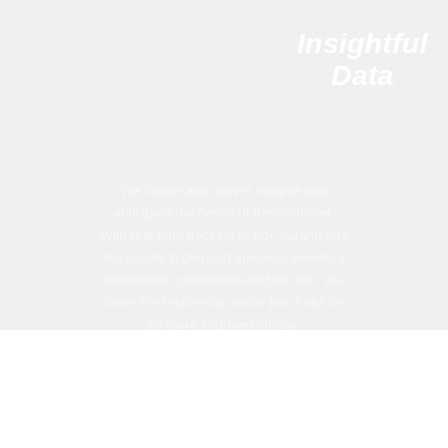Insightful Data
We create and deliver insights that anticipate the needs of the customer. With real-time tracking of 50+ parameters like supply & demand analysis, inventory movement, catchment analysis etc., we cover the residential sector pan India for an more informed choice.
Real Estate Regulatory Authority (RERA)
Get a brief summary of RERA & Its